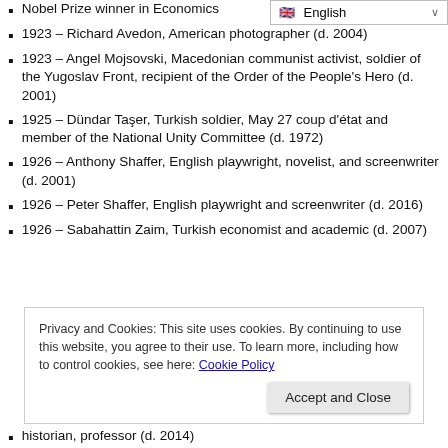Nobel Prize winner in Economics (partially visible at top)
[Figure (other): Language selector dropdown showing English with flag]
1923 – Richard Avedon, American photographer (d. 2004)
1923 – Angel Mojsovski, Macedonian communist activist, soldier of the Yugoslav Front, recipient of the Order of the People's Hero (d. 2001)
1925 – Dündar Taşer, Turkish soldier, May 27 coup d'état and member of the National Unity Committee (d. 1972)
1926 – Anthony Shaffer, English playwright, novelist, and screenwriter (d. 2001)
1926 – Peter Shaffer, English playwright and screenwriter (d. 2016)
1926 – Sabahattin Zaim, Turkish economist and academic (d. 2007)
Privacy and Cookies: This site uses cookies. By continuing to use this website, you agree to their use. To learn more, including how to control cookies, see here: Cookie Policy
historian, professor (d. 2014) (partially visible at bottom)